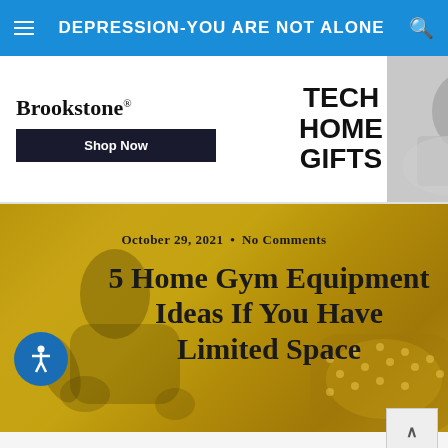DEPRESSION-YOU ARE NOT ALONE
[Figure (illustration): Brookstone advertisement banner for Tech Home Gifts with Shop Now button and photo of person in bed]
[Figure (photo): Hero image with golden/amber tinted photo of person doing exercise with foam roller, overlaid with article metadata and title]
5 Home Gym Equipment Ideas If You Have Limited Space
October 29, 2021 • No Comments